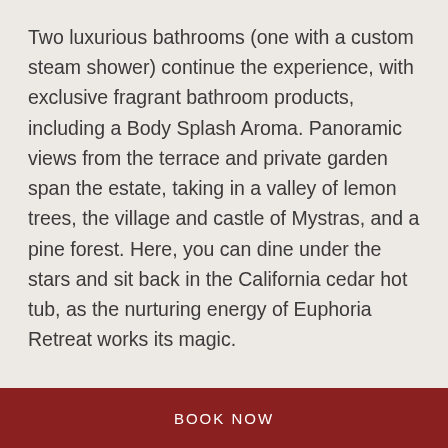Two luxurious bathrooms (one with a custom steam shower) continue the experience, with exclusive fragrant bathroom products, including a Body Splash Aroma. Panoramic views from the terrace and private garden span the estate, taking in a valley of lemon trees, the village and castle of Mystras, and a pine forest. Here, you can dine under the stars and sit back in the California cedar hot tub, as the nurturing energy of Euphoria Retreat works its magic.
BOOK NOW